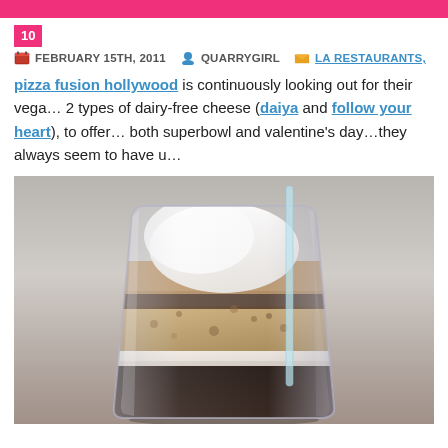10
FEBRUARY 15TH, 2011   QUARRYGIRL   LA RESTAURANTS,
pizza fusion hollywood is continuously looking out for their vega… 2 types of dairy-free cheese (daiya and follow your heart), to offer… both superbowl and valentine's day…they always seem to have u…
[Figure (photo): Close-up photo of a glass cup containing a layered dessert drink with dark liquid at the bottom, ice cream or cream on top, and a straw.]